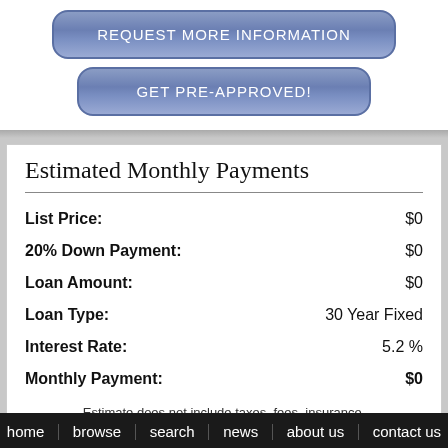REQUEST MORE INFORMATION
GET PRE-APPROVED!
Estimated Monthly Payments
| Field | Value |
| --- | --- |
| List Price: | $0 |
| 20% Down Payment: | $0 |
| Loan Amount: | $0 |
| Loan Type: | 30 Year Fixed |
| Interest Rate: | 5.2 % |
| Monthly Payment: | $0 |
Estimate does not include taxes, fees, insurance.
home   browse   search   news   about us   contact us